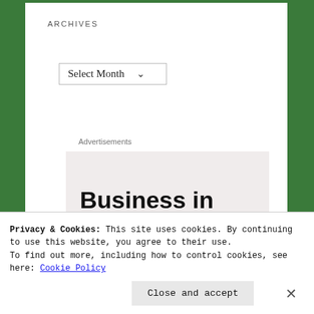ARCHIVES
Select Month
Advertisements
[Figure (illustration): Advertisement banner showing 'Business in the front...' text in bold on light gray background, with an orange rounded bar at the bottom showing 'WordPress' in bold text.]
Privacy & Cookies: This site uses cookies. By continuing to use this website, you agree to their use.
To find out more, including how to control cookies, see here: Cookie Policy
Close and accept